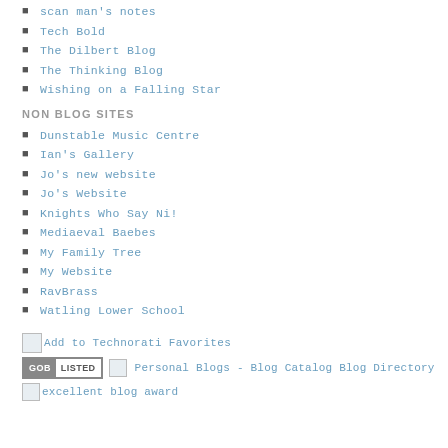scan man's notes
Tech Bold
The Dilbert Blog
The Thinking Blog
Wishing on a Falling Star
NON BLOG SITES
Dunstable Music Centre
Ian's Gallery
Jo's new website
Jo's Website
Knights Who Say Ni!
Mediaeval Baebes
My Family Tree
My Website
RavBrass
Watling Lower School
[Figure (other): Add to Technorati Favorites icon with text link]
[Figure (other): GOB LISTED badge and Personal Blogs - Blog Catalog Blog Directory link with icon]
[Figure (other): excellent blog award icon with text]